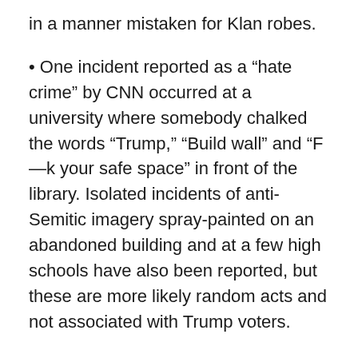in a manner mistaken for Klan robes.
One incident reported as a “hate crime” by CNN occurred at a university where somebody chalked the words “Trump,” “Build wall” and “F—k your safe space” in front of the library. Isolated incidents of anti-Semitic imagery spray-painted on an abandoned building and at a few high schools have also been reported, but these are more likely random acts and not associated with Trump voters.
So where do these bogus reports about hate being on the rise after Trump’s election originate? Most of the lies and misinformation come from the Southern Poverty Law Center, or SPLC.
The SPLC is a leftist attack dog funded by George Soros and other wealthy left-wing foundations that seeks to